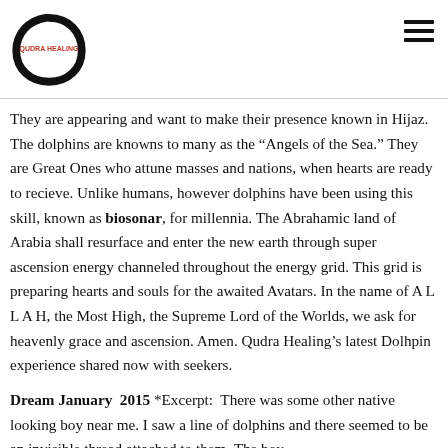Qudra Healing logo and navigation
They are appearing and want to make their presence known in Hijaz. The dolphins are knowns to many as the “Angels of the Sea.” They are Great Ones who attune masses and nations, when hearts are ready to recieve. Unlike humans, however dolphins have been using this skill, known as biosonar, for millennia. The Abrahamic land of Arabia shall resurface and enter the new earth through super ascension energy channeled throughout the energy grid. This grid is preparing hearts and souls for the awaited Avatars. In the name of A L L A H, the Most High, the Supreme Lord of the Worlds, we ask for heavenly grace and ascension. Amen. Qudra Healing’s latest Dolhpin experience shared now with seekers.
Dream January 2015 *Excerpt: There was some other native looking boy near me. I saw a line of dolphins and there seemed to be an invisible thread attached to them. The boy